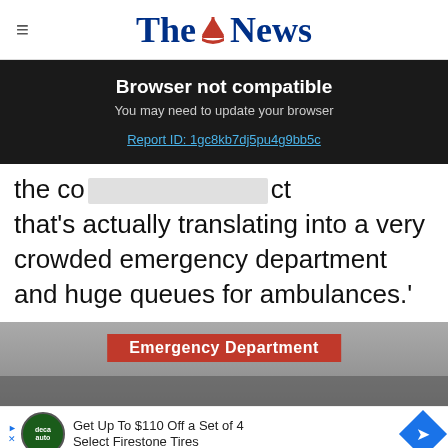The News
Browser not compatible
You may need to update your browser
Report ID: 1gc8kb7dj5pu4g9bb5c
the co[redacted]ct that's actually translating into a very crowded emergency department and huge queues for ambulances.'
[Figure (photo): Emergency Department sign on building exterior]
Get Up To $110 Off a Set of 4 Select Firestone Tires